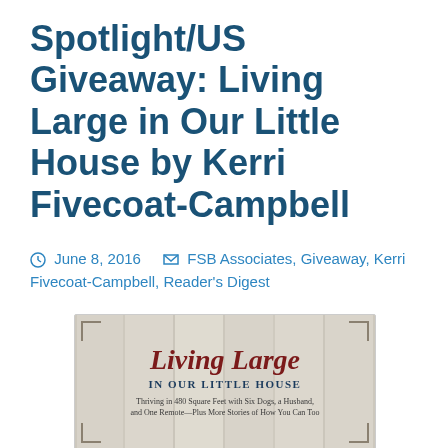Spotlight/US Giveaway: Living Large in Our Little House by Kerri Fivecoat-Campbell
June 8, 2016   FSB Associates, Giveaway, Kerri Fivecoat-Campbell, Reader's Digest
[Figure (illustration): Book cover for 'Living Large in Our Little House' by Kerri Fivecoat-Campbell — rustic wood-plank background with corner bracket decorations, large red serif title 'Living Large', subtitle 'IN OUR LITTLE HOUSE', tagline 'Thriving in 480 Square Feet with Six Dogs, a Husband, and One Remote—Plus More Stories of How You Can Too']